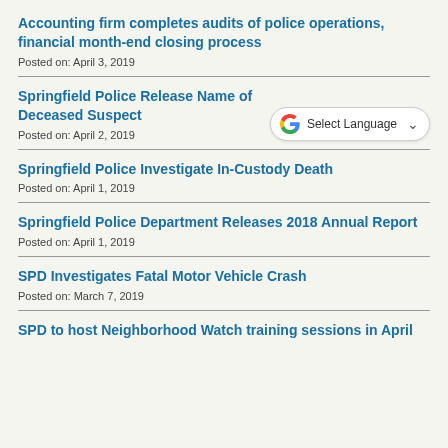Accounting firm completes audits of police operations, financial month-end closing process
Posted on: April 3, 2019
Springfield Police Release Name of Deceased Suspect
Posted on: April 2, 2019
Springfield Police Investigate In-Custody Death
Posted on: April 1, 2019
Springfield Police Department Releases 2018 Annual Report
Posted on: April 1, 2019
SPD Investigates Fatal Motor Vehicle Crash
Posted on: March 7, 2019
SPD to host Neighborhood Watch training sessions in April